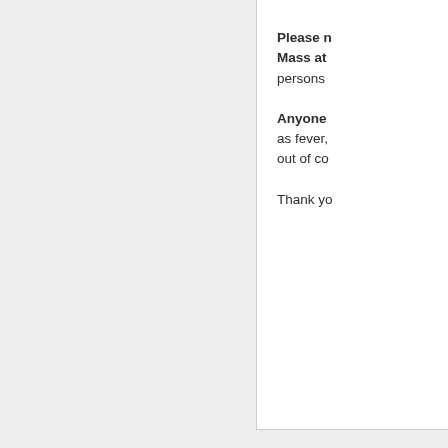Please note that Mass at persons
Anyone as fever, out of co
Thank yo